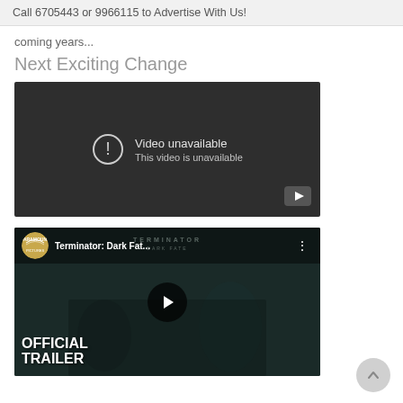Call 6705443 or 9966115 to Advertise With Us!
coming years...
Next Exciting Change
[Figure (screenshot): Embedded video player showing 'Video unavailable' message with exclamation icon and YouTube logo in bottom right corner. Dark background.]
[Figure (screenshot): Embedded YouTube video thumbnail for 'Terminator: Dark Fate...' with Paramount Pictures logo, play button, and 'OFFICIAL TRAILER' text overlay on dark cinematic background.]